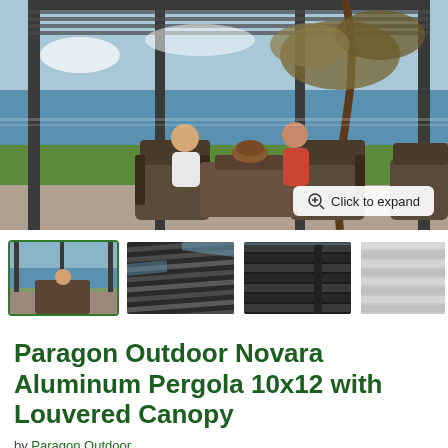[Figure (photo): Main product photo showing a pergola with louvered canopy over an outdoor patio seating area with two people seated in wicker chairs at a table, overlooking a green lawn and ocean view. A large tree is visible. A 'Click to expand' button appears in the bottom right.]
[Figure (photo): Thumbnail 1: Wide shot of the pergola from outside showing the full structure with people seated underneath and tree/ocean in background. Selected/active thumbnail with green border.]
[Figure (photo): Thumbnail 2: Close-up looking up at the louvered canopy slats of the pergola from underneath, dark metallic finish.]
[Figure (photo): Thumbnail 3: Close-up of the louvered aluminum slats of the pergola canopy from a slightly different angle, dark finish.]
[Figure (photo): Thumbnail 4 (partially visible): Close-up of the aluminum louvered slats, lighter/silver tone, partially cropped.]
Paragon Outdoor Novara Aluminum Pergola 10x12 with Louvered Canopy
by Paragon Outdoor